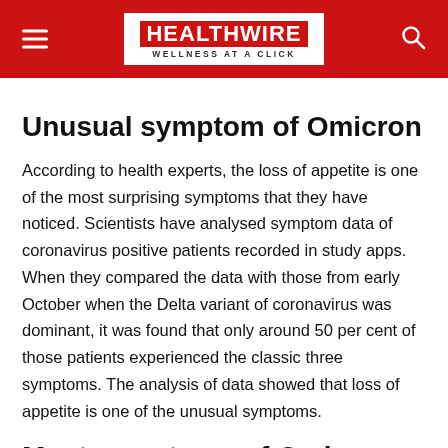HEALTHWIRE WELLNESS AT A CLICK
Unusual symptom of Omicron
According to health experts, the loss of appetite is one of the most surprising symptoms that they have noticed. Scientists have analysed symptom data of coronavirus positive patients recorded in study apps. When they compared the data with those from early October when the Delta variant of coronavirus was dominant, it was found that only around 50 per cent of those patients experienced the classic three symptoms. The analysis of data showed that loss of appetite is one of the unusual symptoms.
Most symptoms of Omicron are very similar to common cold